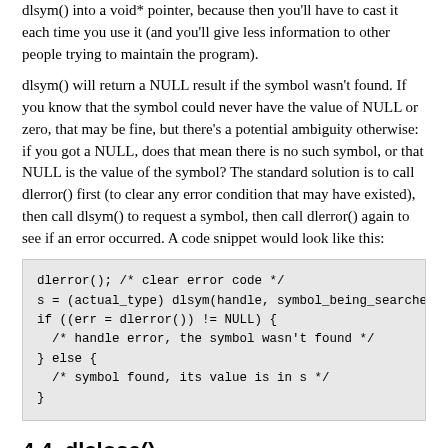dlsym() into a void* pointer, because then you'll have to cast it each time you use it (and you'll give less information to other people trying to maintain the program).
dlsym() will return a NULL result if the symbol wasn't found. If you know that the symbol could never have the value of NULL or zero, that may be fine, but there's a potential ambiguity otherwise: if you got a NULL, does that mean there is no such symbol, or that NULL is the value of the symbol? The standard solution is to call dlerror() first (to clear any error condition that may have existed), then call dlsym() to request a symbol, then call dlerror() again to see if an error occurred. A code snippet would look like this:
[Figure (other): Code block showing C code using dlerror(), dlsym(), and error handling with if/else.]
4.4. dlclose()
The converse of dlopen() is dlclose(), which closes a DL library.